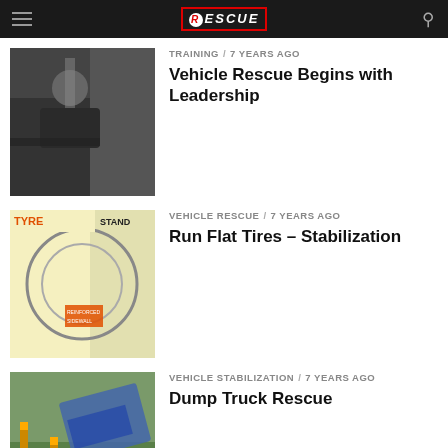RESCUE
TRAINING / 7 years ago
Vehicle Rescue Begins with Leadership
VEHICLE RESCUE / 7 years ago
Run Flat Tires – Stabilization
VEHICLE STABILIZATION / 7 years ago
Dump Truck Rescue
MORE POSTS
ADVERTISEMENT
SPONSORED BY